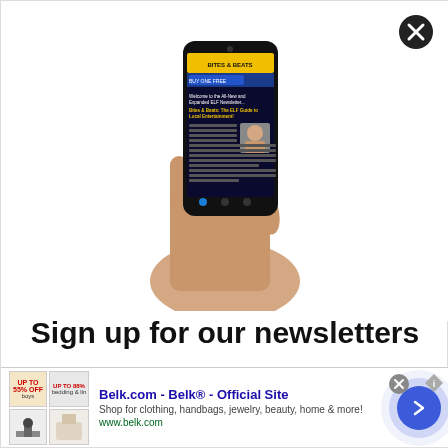[Figure (photo): A hand holding a smartphone displaying a newsletter called 'Bites & Beats' with colorful content on the screen]
Sign up for our newsletters
Including the ALL NEW Bites & Beats, your weekly source for dining, entertainment and fun things to do in the area!
[Figure (infographic): Advertisement banner for Belk.com - Belk® - Official Site. Shop for clothing, handbags, jewelry, beauty, home & more! www.belk.com]